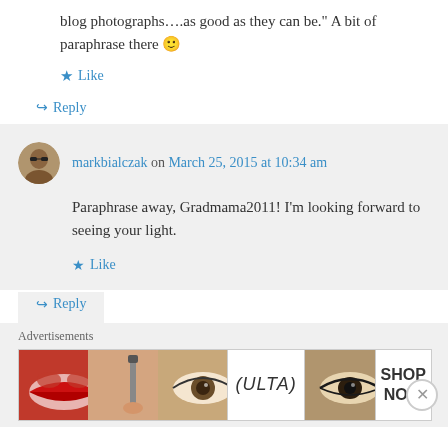blog photographs....as good as they can be.” A bit of paraphrase there 🙂
★ Like
↪ Reply
markbialczak on March 25, 2015 at 10:34 am
Paraphrase away, Gradmama2011! I’m looking forward to seeing your light.
★ Like
↪ Reply
Advertisements